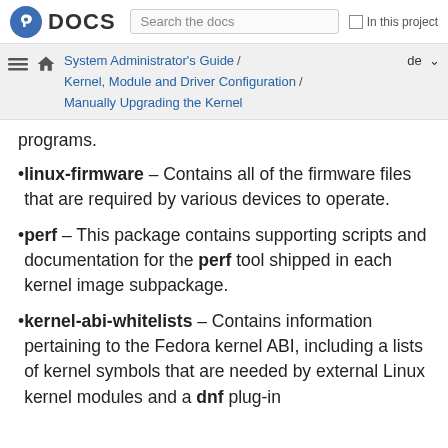Fedora DOCS — Search the docs — In this project
System Administrator's Guide / Kernel, Module and Driver Configuration / Manually Upgrading the Kernel — de
programs.
linux-firmware — Contains all of the firmware files that are required by various devices to operate.
perf — This package contains supporting scripts and documentation for the perf tool shipped in each kernel image subpackage.
kernel-abi-whitelists — Contains information pertaining to the Fedora kernel ABI, including a lists of kernel symbols that are needed by external Linux kernel modules and a dnf plug-in